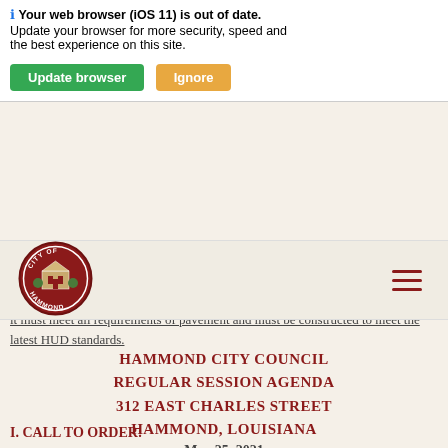Your web browser (iOS 11) is out of date. Update your browser for more security, speed and the best experience on this site.
[Figure (logo): City of Hammond circular seal logo with dark red border and building illustration]
it must meet all requirements of pavement and must be constructed to meet the latest HUD standards.
HAMMOND CITY COUNCIL
REGULAR SESSION AGENDA
312 EAST CHARLES STREET
HAMMOND, LOUISIANA
May 25, 2021
6:00pm or at conclusion of Public Hearing
I. CALL TO ORDER:
II. ROLL CALL: